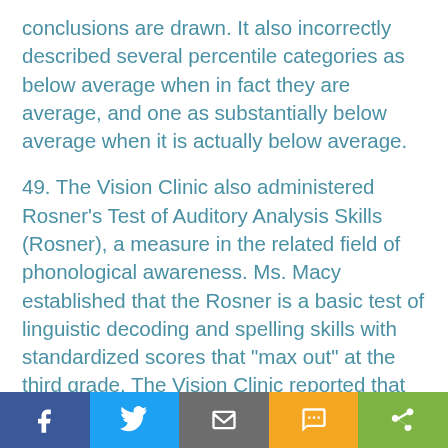conclusions are drawn. It also incorrectly described several percentile categories as below average when in fact they are average, and one as substantially below average when it is actually below average.
49. The Vision Clinic also administered Rosner's Test of Auditory Analysis Skills (Rosner), a measure in the related field of phonological awareness. Ms. Macy established that the Rosner is a basic test of linguistic decoding and spelling skills with standardized scores that "max out" at the third grade. The Vision Clinic reported that Student received the maximum score on the Rosner.
[Figure (other): Social sharing bar with Facebook, Twitter, Email, SMS, and Share buttons]